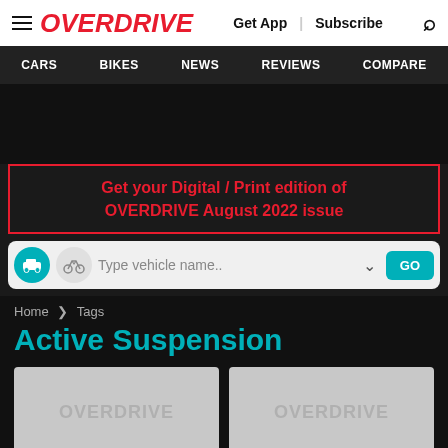OVERDRIVE | Get App | Subscribe
CARS | BIKES | NEWS | REVIEWS | COMPARE
Get your Digital / Print edition of OVERDRIVE August 2022 issue
Type vehicle name..
Home > Tags
Active Suspension
[Figure (screenshot): Two placeholder image cards showing OVERDRIVE watermark text on grey background]